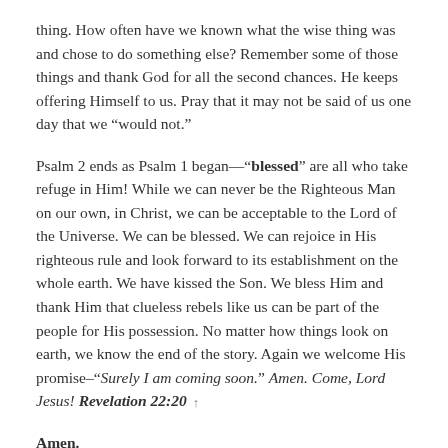thing. How often have we known what the wise thing was and chose to do something else? Remember some of those things and thank God for all the second chances. He keeps offering Himself to us. Pray that it may not be said of us one day that we “would not.”
Psalm 2 ends as Psalm 1 began—“blessed” are all who take refuge in Him! While we can never be the Righteous Man on our own, in Christ, we can be acceptable to the Lord of the Universe. We can be blessed. We can rejoice in His righteous rule and look forward to its establishment on the whole earth. We have kissed the Son. We bless Him and thank Him that clueless rebels like us can be part of the people for His possession. No matter how things look on earth, we know the end of the story. Again we welcome His promise–“Surely I am coming soon.” Amen. Come, Lord Jesus! Revelation 22:20
Amen.